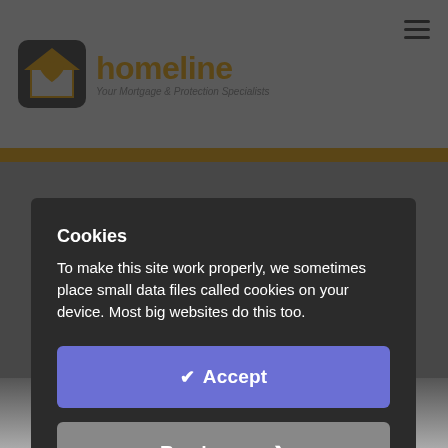[Figure (logo): Homeline logo — house icon with heart, orange text 'homeline', tagline 'Your Mortgage & Protection Specialists']
Cookies
To make this site work properly, we sometimes place small data files called cookies on your device. Most big websites do this too.
✔ Accept
Read more ❯
Change Settings ⚙